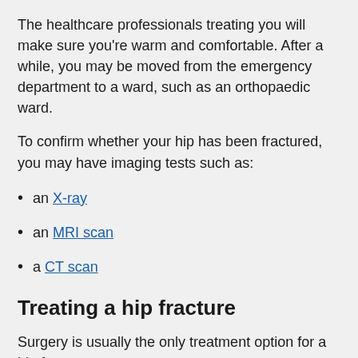The healthcare professionals treating you will make sure you're warm and comfortable. After a while, you may be moved from the emergency department to a ward, such as an orthopaedic ward.
To confirm whether your hip has been fractured, you may have imaging tests such as:
an X-ray
an MRI scan
a CT scan
Treating a hip fracture
Surgery is usually the only treatment option for a hip fracture.
The National Institute for Health and Care Excellence (NICE)...